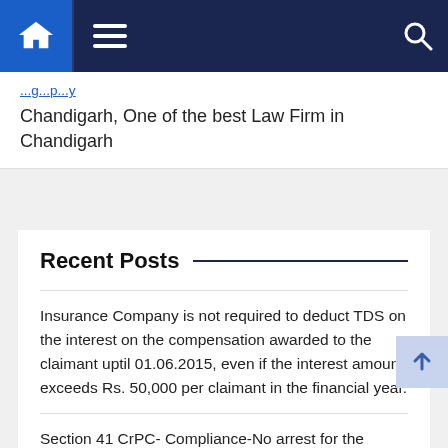Navigation bar with home, menu, and search icons
Chandigarh, One of the best Law Firm in Chandigarh
Recent Posts
Insurance Company is not required to deduct TDS on the interest on the compensation awarded to the claimant uptil 01.06.2015, even if the interest amount exceeds Rs. 50,000 per claimant in the financial year.
Section 41 CrPC- Compliance-No arrest for the reason that it is lawful to do so.
Section 143-A of the Negotiable Instruments Act, 1881 are directory rather than mandatory.